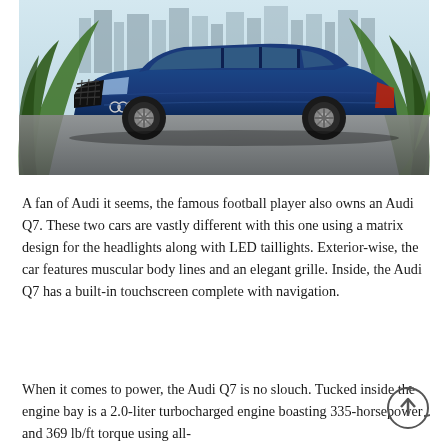[Figure (photo): Blue Audi Q7 SUV parked outdoors with tropical palm leaves framing the foreground and a city skyline in the background.]
A fan of Audi it seems, the famous football player also owns an Audi Q7. These two cars are vastly different with this one using a matrix design for the headlights along with LED taillights. Exterior-wise, the car features muscular body lines and an elegant grille. Inside, the Audi Q7 has a built-in touchscreen complete with navigation.
When it comes to power, the Audi Q7 is no slouch. Tucked inside the engine bay is a 2.0-liter turbocharged engine boasting 335-horsepower and 369 lb/ft torque using all-